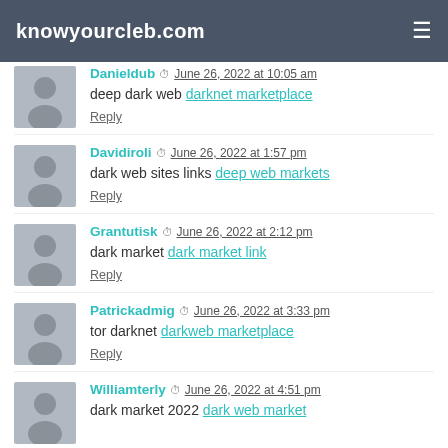knowyourcleb.com
Danieldub · June 26, 2022 at 10:05 am
deep dark web darknet marketplace
Reply
Davidiroli · June 26, 2022 at 1:57 pm
dark web sites links deep web markets
Reply
Grantutisk · June 26, 2022 at 2:12 pm
dark market dark market link
Reply
Patrickadmig · June 26, 2022 at 3:33 pm
tor darknet darkweb marketplace
Reply
Williamterly · June 26, 2022 at 4:51 pm
dark market 2022 dark web market